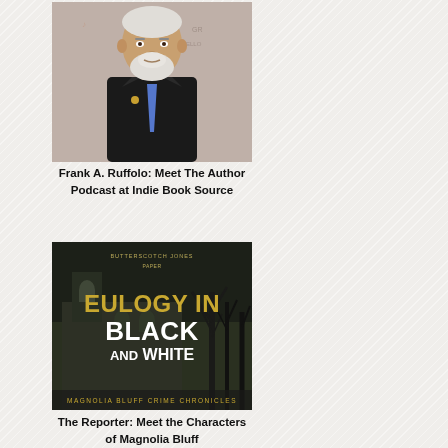[Figure (photo): Portrait photo of Frank A. Ruffolo, an older man with white beard wearing a dark suit and blue tie, photographed at an event with branded backdrop]
Frank A. Ruffolo: Meet The Author Podcast at Indie Book Source
[Figure (photo): Book cover of 'Eulogy in Black and White' from the Magnolia Bluff Crime Chronicles series, showing a gothic building with bare trees in background, title in large white and gold text]
The Reporter: Meet the Characters of Magnolia Bluff